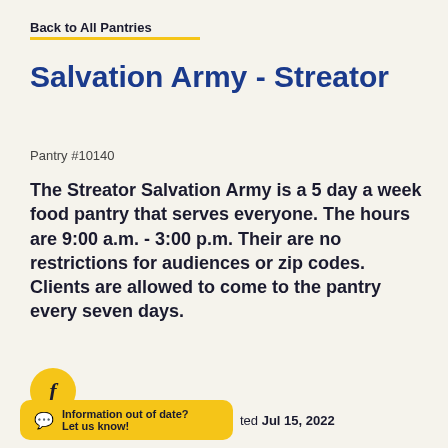Back to All Pantries
Salvation Army - Streator
Pantry #10140
The Streator Salvation Army is a 5 day a week food pantry that serves everyone. The hours are 9:00 a.m. - 3:00 p.m. Their are no restrictions for audiences or zip codes. Clients are allowed to come to the pantry every seven days.
[Figure (logo): Facebook icon button — circular yellow button with a white lowercase f]
Information out of date? Let us know!
ted Jul 15, 2022